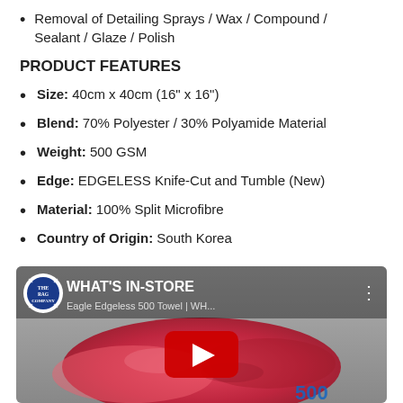Removal of Detailing Sprays / Wax / Compound / Sealant / Glaze / Polish
PRODUCT FEATURES
Size: 40cm x 40cm (16" x 16")
Blend: 70% Polyester / 30% Polyamide Material
Weight: 500 GSM
Edge: EDGELESS Knife-Cut and Tumble (New)
Material: 100% Split Microfibre
Country of Origin: South Korea
[Figure (screenshot): YouTube video thumbnail showing 'WHAT'S IN-STORE' with Eagle Edgeless 500 Towel title, a pink/red microfibre towel image, and a YouTube play button overlay.]